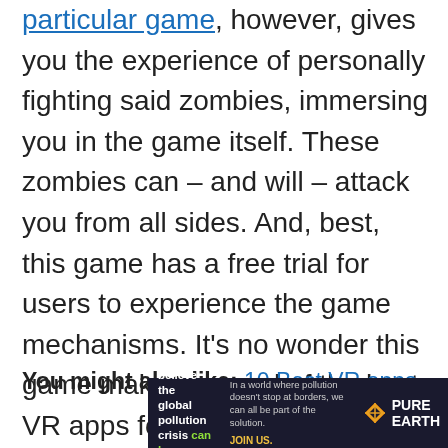particular game, however, gives you the experience of personally fighting said zombies, immersing you in the game itself. These zombies can – and will – attack you from all sides. And, best, this game has a free trial for users to experience the game mechanisms. It's no wonder this game makes several of the best VR apps for iPhone lists!
You might also like: 10 Best VR apps
[Figure (other): reCAPTCHA logo - blue arrow icon on light gray background]
[Figure (other): Advertisement banner for Pure Earth: dark background with text 'We believe the global pollution crisis can be solved.' and 'In a world where pollution doesn't stop at borders, we can all be part of the solution. JOIN US.' with Pure Earth logo (diamond shape)]